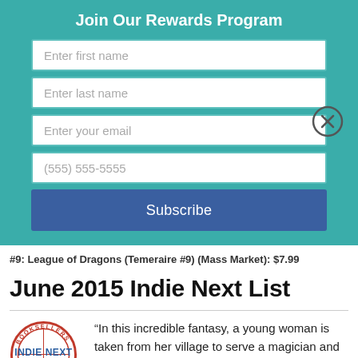Join Our Rewards Program
Enter first name
Enter last name
Enter your email
(555) 555-5555
Subscribe
#9: League of Dragons (Teemeaire #9) (Mass Market): $7.99
June 2015 Indie Next List
“In this incredible fantasy, a young woman is taken from her village to serve a magician and finds out that she too possesses